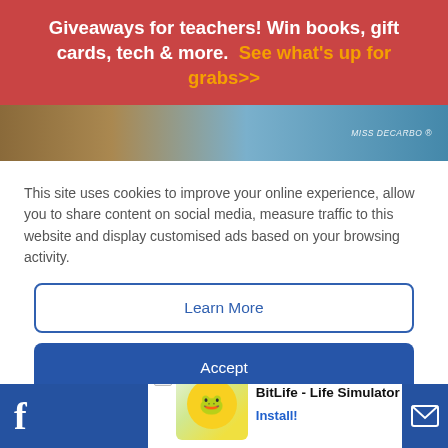Giveaways for teachers! Win books, gift cards, tech & more.  See what's up for grabs>>
[Figure (photo): Partial view of a car wheel and blue product packaging with 'MISS DECARBO' text]
This site uses cookies to improve your online experience, allow you to share content on social media, measure traffic to this website and display customised ads based on your browsing activity.
Learn More
Accept
[Figure (photo): Mountain landscape with rocky terrain and snow]
BitLife - Life Simulator
Install!